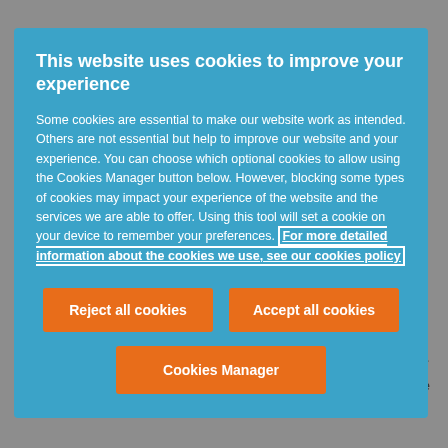[Figure (screenshot): Cookie consent modal dialog over a webpage. The modal has a teal/blue background with a title in bold white text, body text in white, a hyperlink with white border, and three orange buttons: 'Reject all cookies', 'Accept all cookies', and 'Cookies Manager'.]
This website uses cookies to improve your experience
Some cookies are essential to make our website work as intended. Others are not essential but help to improve our website and your experience. You can choose which optional cookies to allow using the Cookies Manager button below. However, blocking some types of cookies may impact your experience of the website and the services we are able to offer. Using this tool will set a cookie on your device to remember your preferences. For more detailed information about the cookies we use, see our cookies policy
...were addressing the well-being dimensions by the Covid-19 taskforce.
The CMA has made it clear that it will take a strong stance to protect the rights of consumers during the pandemic. In